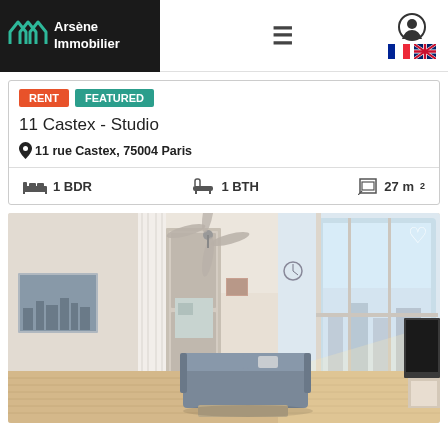Arsène Immobilier — navigation header with logo, hamburger menu, user icon, and language flags (FR/EN)
RENT  FEATURED
11 Castex - Studio
11 rue Castex, 75004 Paris
1 BDR   1 BTH   27 m²
[Figure (photo): Interior photo of a bright studio apartment with hardwood floors, grey sofa, large curved floor-to-ceiling windows with balcony view, ceiling fan, white curtains, wall art, and a TV stand on the right.]